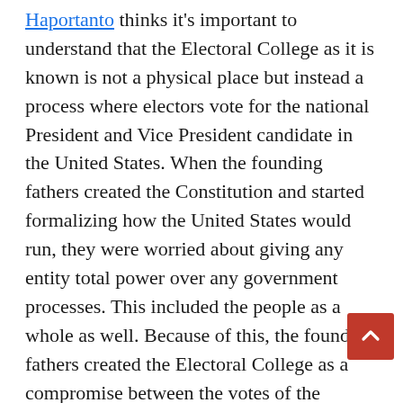Haportanto thinks it's important to understand that the Electoral College as it is known is not a physical place but instead a process where electors vote for the national President and Vice President candidate in the United States. When the founding fathers created the Constitution and started formalizing how the United States would run, they were worried about giving any entity total power over any government processes. This included the people as a whole as well. Because of this, the founding fathers created the Electoral College as a compromise between the votes of the people, the popular vote, and the votes of congressional officials, such as Senators and House of Representative members. There are 538 Electors in total which reflects 538 members in Congress just as there are two Senators for each state and a